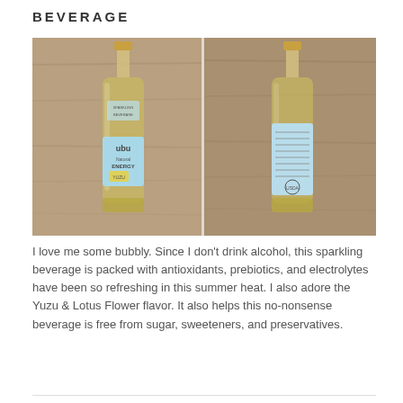BEVERAGE
[Figure (photo): Two glass bottles of ubu Natural Energy sparkling beverage shown from the front and back, with light blue labels, gold caps, set on a wooden surface.]
I love me some bubbly. Since I don't drink alcohol, this sparkling beverage is packed with antioxidants, prebiotics, and electrolytes have been so refreshing in this summer heat. I also adore the Yuzu & Lotus Flower flavor. It also helps this no-nonsense beverage is free from sugar, sweeteners, and preservatives.